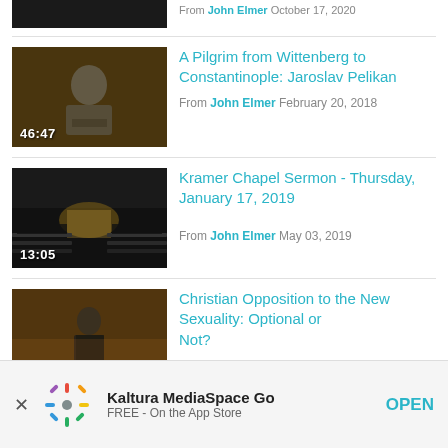[Figure (screenshot): Partial video thumbnail of previous list item, cut off at top]
A Pilgrim from Wittenberg to Constantinople: Jaroslav Pelikan
From John Elmer February 20, 2018
Duration: 46:47
Kramer Chapel Sermon - Thursday, January 17, 2019
From John Elmer May 03, 2019
Duration: 13:05
Christian Opposition to the New Sexuality: Optional or Not?
Kaltura MediaSpace Go FREE - On the App Store OPEN